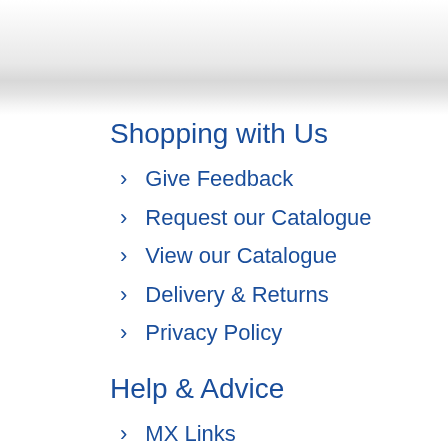Shopping with Us
Give Feedback
Request our Catalogue
View our Catalogue
Delivery & Returns
Privacy Policy
Help & Advice
MX Links
MX Sizing Charts